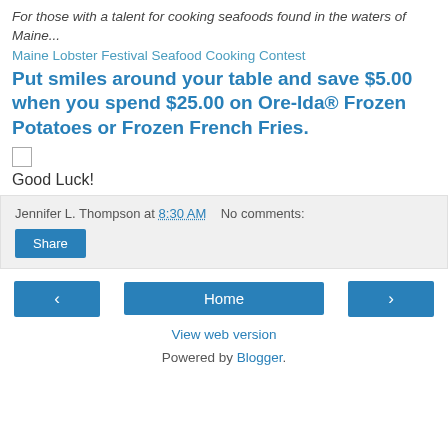For those with a talent for cooking seafoods found in the waters of Maine...
Maine Lobster Festival Seafood Cooking Contest
Put smiles around your table and save $5.00 when you spend $25.00 on Ore-Ida® Frozen Potatoes or Frozen French Fries.
Good Luck!
Jennifer L. Thompson at 8:30 AM   No comments:
Share
‹
Home
›
View web version
Powered by Blogger.